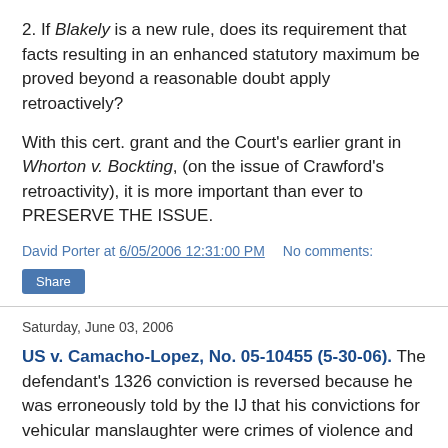2. If Blakely is a new rule, does its requirement that facts resulting in an enhanced statutory maximum be proved beyond a reasonable doubt apply retroactively?
With this cert. grant and the Court's earlier grant in Whorton v. Bockting, (on the issue of Crawford's retroactivity), it is more important than ever to PRESERVE THE ISSUE.
David Porter at 6/05/2006 12:31:00 PM    No comments:
Share
Saturday, June 03, 2006
US v. Camacho-Lopez, No. 05-10455 (5-30-06). The defendant's 1326 conviction is reversed because he was erroneously told by the IJ that his convictions for vehicular manslaughter were crimes of violence and thus barred him from discretionary relief. The 9th holds that the Supremes in Leocal found a state DUI not to be a crime of violence, and the 9th applied this in Lara-Cazares v. Gonzales, 408 F.3d